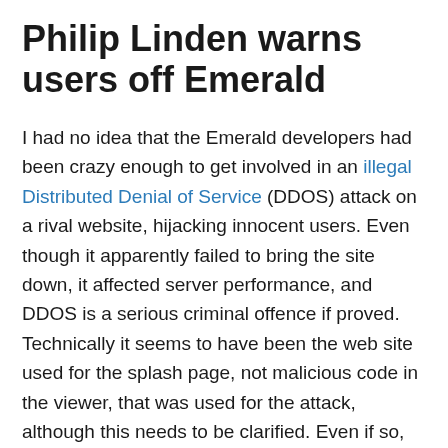Philip Linden warns users off Emerald
I had no idea that the Emerald developers had been crazy enough to get involved in an illegal Distributed Denial of Service (DDOS) attack on a rival website, hijacking innocent users. Even though it apparently failed to bring the site down, it affected server performance, and DDOS is a serious criminal offence if proved. Technically it seems to have been the web site used for the splash page, not malicious code in the viewer, that was used for the attack, although this needs to be clarified. Even if so, the Emerald viewer was pointed at that web site and I doubt that this will cut much ice with Linden Lab. Trouble is that Emerald is more popular than LL's own viewer, and has a great deal of power at a time when serious cuts have been